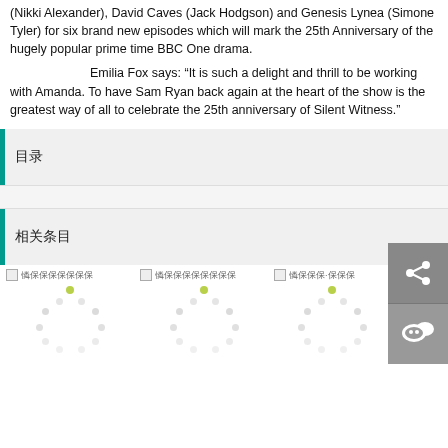(Nikki Alexander), David Caves (Jack Hodgson) and Genesis Lynea (Simone Tyler) for six brand new episodes which will mark the 25th Anniversary of the hugely popular prime time BBC One drama.
Emilia Fox says: “It is such a delight and thrill to be working with Amanda. To have Sam Ryan back again at the heart of the show is the greatest way of all to celebrate the 25th anniversary of Silent Witness.”
目录
相关条目
[Figure (other): Loading spinner dots placeholder for thumbnail image 1]
[Figure (other): Loading spinner dots placeholder for thumbnail image 2]
[Figure (other): Loading spinner dots placeholder for thumbnail image 3]
[Figure (other): Share button icon (network share)]
[Figure (other): WeChat share button icon]